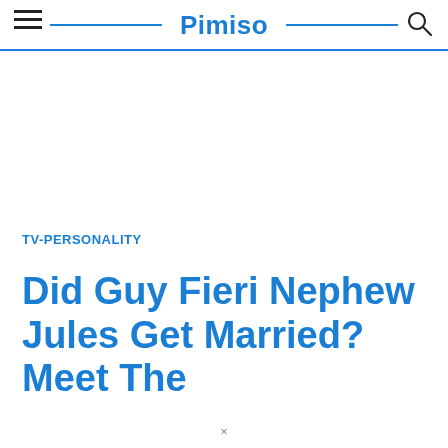Pimiso
TV-PERSONALITY
Did Guy Fieri Nephew Jules Get Married? Meet The